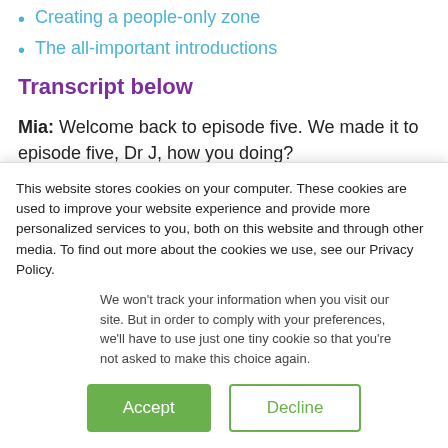Creating a people-only zone
The all-important introductions
Transcript below
Mia: Welcome back to episode five. We made it to episode five, Dr J, how you doing?
Dr. J: I'm well, hanging in there, having fun.
Mia: Good. Well, we also made it to episode five of
This website stores cookies on your computer. These cookies are used to improve your website experience and provide more personalized services to you, both on this website and through other media. To find out more about the cookies we use, see our Privacy Policy.
We won't track your information when you visit our site. But in order to comply with your preferences, we'll have to use just one tiny cookie so that you're not asked to make this choice again.
Accept
Decline